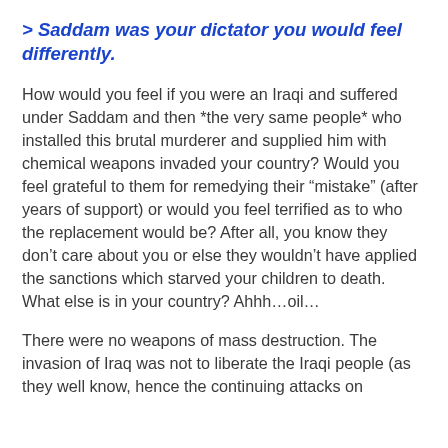> Saddam was your dictator you would feel differently.
How would you feel if you were an Iraqi and suffered under Saddam and then *the very same people* who installed this brutal murderer and supplied him with chemical weapons invaded your country? Would you feel grateful to them for remedying their “mistake” (after years of support) or would you feel terrified as to who the replacement would be? After all, you know they don’t care about you or else they wouldn’t have applied the sanctions which starved your children to death. What else is in your country? Ahhh…oil…
There were no weapons of mass destruction. The invasion of Iraq was not to liberate the Iraqi people (as they well know, hence the continuing attacks on